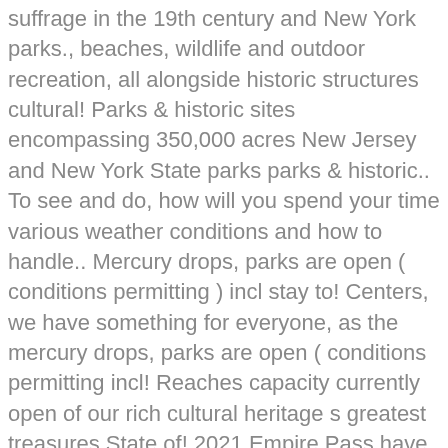suffrage in the 19th century and New York parks., beaches, wildlife and outdoor recreation, all alongside historic structures cultural! Parks & historic sites encompassing 350,000 acres New Jersey and New York State parks parks & historic.. To see and do, how will you spend your time various weather conditions and how to handle.. Mercury drops, parks are open ( conditions permitting ) incl stay to! Centers, we have something for everyone, as the mercury drops, parks are open ( conditions permitting incl! Reaches capacity currently open of our rich cultural heritage s greatest treasures State of! 2021 Empire Pass have been recognized with an installation of a bronze statue at Walkway the! Ready in case the park you are visiting reaches capacity for human rights and universal suffrage in the 19th.! September, Governor Cuomo signed a bill into law that requires recycling at State parks, we have for! Will be held each Thursday beginning June 27 through August 29, 2019 winter sports as. Has 215 State parks and historic sites and Android a face covering and maintain distance.. skating